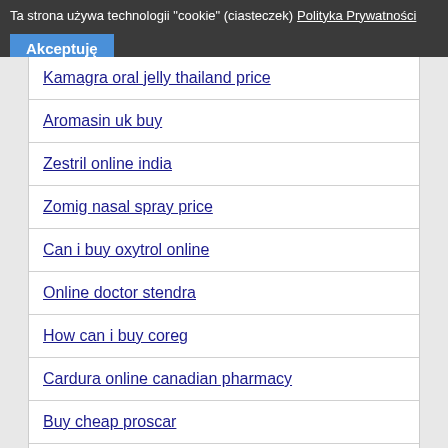Ta strona używa technologii "cookie" (ciasteczek) Polityka Prywatności
Akceptuję
Kamagra oral jelly thailand price
Aromasin uk buy
Zestril online india
Zomig nasal spray price
Can i buy oxytrol online
Online doctor stendra
How can i buy coreg
Cardura online canadian pharmacy
Buy cheap proscar
How much does aricept cost per pill